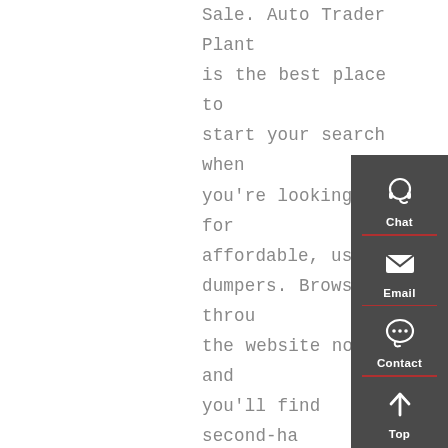Sale. Auto Trader Plant is the best place to start your search when you're looking for affordable, used dumpers. Browse through the website now and you'll find second-hand dumpers from recognisable industry names including Thwaites, Terex, Benford and Yanmar – brands that are relied on by construction firms
[Figure (infographic): Dark grey sidebar widget with four buttons: Chat (headset icon), Email (envelope icon), Contact (speech bubble icon), Top (upward arrow icon), each separated by a red horizontal divider line.]